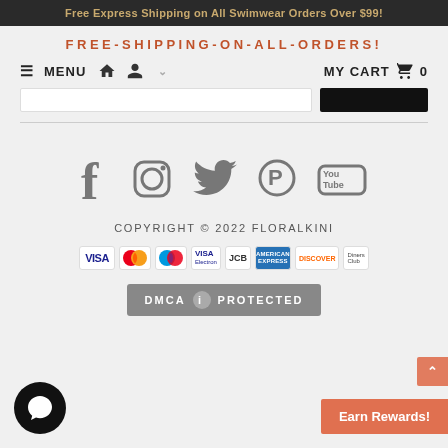Free Express Shipping on All Swimwear Orders Over $99!
FREE-SHIPPING-ON-ALL-ORDERS!
[Figure (screenshot): Navigation bar with hamburger menu, home icon, user icon, dropdown caret, MY CART with cart icon and 0 count]
[Figure (screenshot): Search input box and dark search button]
[Figure (infographic): Social media icons: Facebook, Instagram, Twitter, Pinterest, YouTube]
COPYRIGHT © 2022 FLORALKINI
[Figure (infographic): Payment method icons: VISA, Mastercard, Maestro, Visa Electron, JCB, American Express, Discover, Diners Club]
[Figure (infographic): DMCA PROTECTED badge]
Earn Rewards!